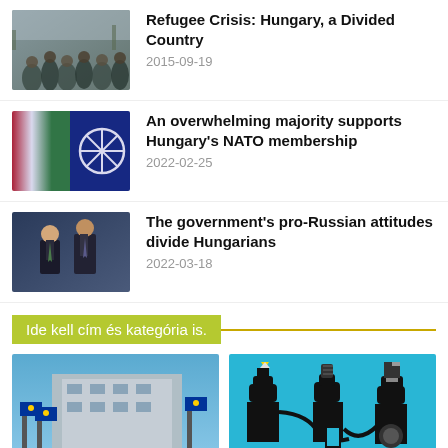[Figure (photo): Crowd of refugees walking]
Refugee Crisis: Hungary, a Divided Country
2015-09-19
[Figure (photo): Hungarian flag and NATO flag]
An overwhelming majority supports Hungary's NATO membership
2022-02-25
[Figure (photo): Two men in suits shaking hands]
The government's pro-Russian attitudes divide Hungarians
2022-03-18
Ide kell cím és kategória is.
[Figure (photo): EU flags in front of a building]
[Figure (illustration): Press freedom illustration with hands holding microphone and pen on cyan background]